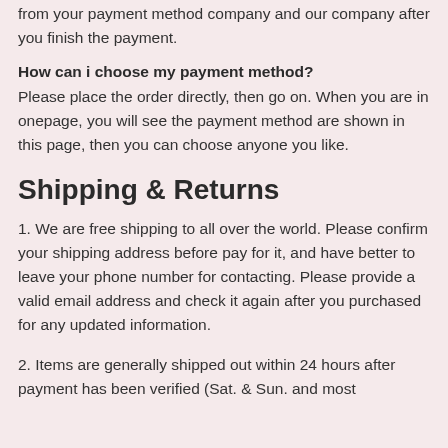from your payment method company and our company after you finish the payment.
How can i choose my payment method?
Please place the order directly, then go on. When you are in onepage, you will see the payment method are shown in this page, then you can choose anyone you like.
Shipping & Returns
1. We are free shipping to all over the world. Please confirm your shipping address before pay for it, and have better to leave your phone number for contacting. Please provide a valid email address and check it again after you purchased for any updated information.
2. Items are generally shipped out within 24 hours after payment has been verified (Sat. & Sun. and most